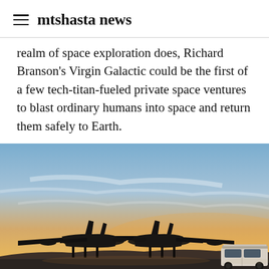mtshasta news
realm of space exploration does, Richard Branson's Virgin Galactic could be the first of a few tech-titan-fueled private space ventures to blast ordinary humans into space and return them safely to Earth.
[Figure (photo): A large twin-fuselage aircraft (Virgin Galactic's WhiteKnightTwo carrier aircraft) on a runway at sunset/dusk with a vehicle on the right side. Sky shows warm orange, golden, and blue tones.]